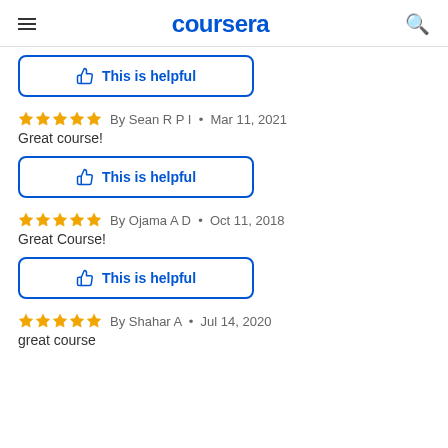coursera
This is helpful
By Sean R P I  •  Mar 11, 2021
Great course!
This is helpful
By Ojama A D  •  Oct 11, 2018
Great Course!
This is helpful
By Shahar A  •  Jul 14, 2020
great course